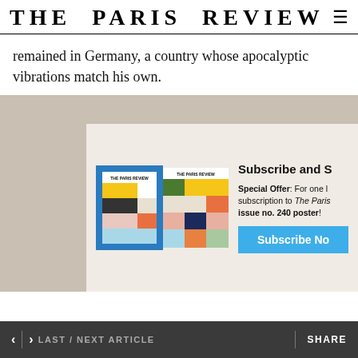THE PARIS REVIEW
remained in Germany, a country whose apocalyptic vibrations match his own.
[Figure (screenshot): Subscription overlay on top of a background photo. Shows two Paris Review magazine covers side by side (colorful grid art covers), with text 'Subscribe and S...' and 'Special Offer: For one l... subscription to The Paris... issue no. 240 poster!' and a blue 'Subscribe No...' button.]
< | > LAST / NEXT ARTICLE    SHARE